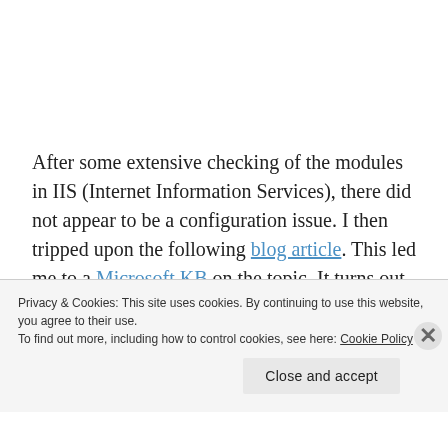After some extensive checking of the modules in IIS (Internet Information Services), there did not appear to be a configuration issue.  I then tripped upon the following blog article.  This led me to a Microsoft KB on the topic.  It turns out that sometimes when you install Exchange, the SharedWebConfig.config file does not get created.  The fix is to copy one from a working server.  Well what if you don't have a working server?  In this case we did, but what
Privacy & Cookies: This site uses cookies. By continuing to use this website, you agree to their use.
To find out more, including how to control cookies, see here: Cookie Policy
Close and accept